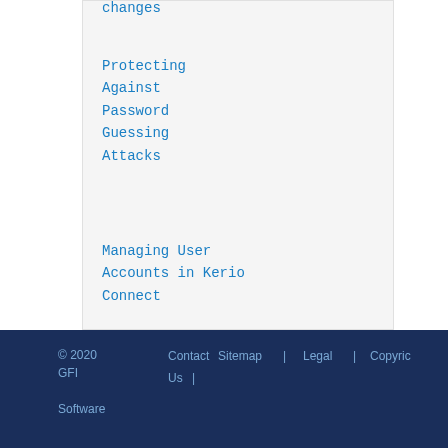changes
Protecting Against Password Guessing Attacks
Managing User Accounts in Kerio Connect
© 2020 GFI Software  Contact Us  |  Sitemap  |  Legal  |  Copyright